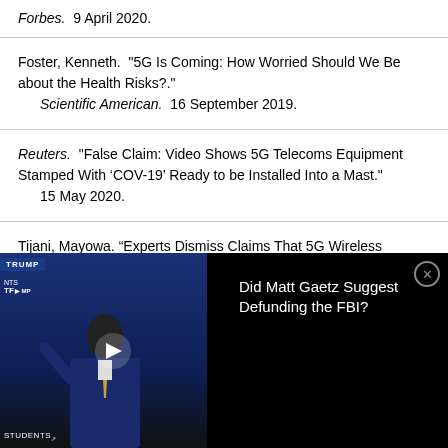Forbes.  9 April 2020.
Foster, Kenneth.  "5G Is Coming: How Worried Should We Be about the Health Risks?."
    Scientific American.  16 September 2019.
Reuters.  "False Claim: Video Shows 5G Telecoms Equipment Stamped With ‘COV-19’ Ready to be Installed Into a Mast."
    15 May 2020.
Tijani, Mayowa. "Experts Dismiss Claims That 5G Wireless
[Figure (screenshot): Video overlay thumbnail showing a man in a suit at a podium with 'TRUMP' banners in background; black panel on right shows text 'Did Matt Gaetz Suggest Defunding the FBI?' with close button.]